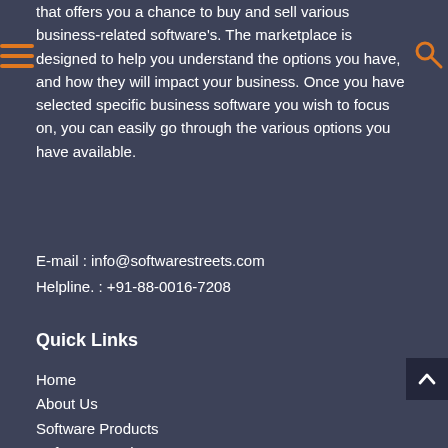that offers you a chance to buy and sell various business-related software's. The marketplace is designed to help you understand the options you have, and how they will impact your business. Once you have selected specific business software you wish to focus on, you can easily go through the various options you have available.
E-mail : info@softwarestreets.com
Helpline. : +91-88-0016-7208
Quick Links
Home
About Us
Software Products
Software Services
Blog
Write For Us
Terms & Condition
Privacy & Policy
Contact Us